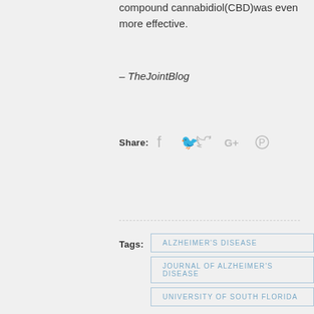compound cannabidiol(CBD)was even more effective.
– TheJointBlog
Share:
[Figure (other): Social share icons: Facebook, Twitter, Google+, Pinterest in gray]
Tags:
ALZHEIMER'S DISEASE
JOURNAL OF ALZHEIMER'S DISEASE
UNIVERSITY OF SOUTH FLORIDA